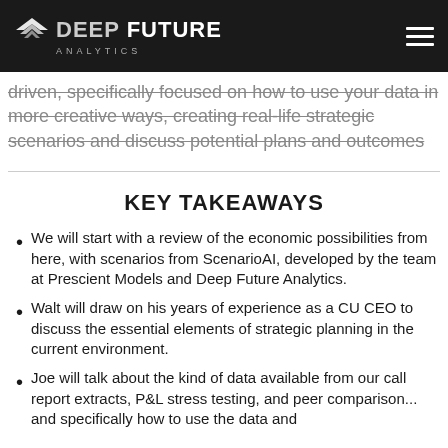DEEP FUTURE ANALYTICS
driven, specifically focused on how to use your data in more creative ways, creating real-life strategic scenarios and discuss potential plans and outcomes
KEY TAKEAWAYS
We will start with a review of the economic possibilities from here, with scenarios from ScenarioAI, developed by the team at Prescient Models and Deep Future Analytics.
Walt will draw on his years of experience as a CU CEO to discuss the essential elements of strategic planning in the current environment.
Joe will talk about the kind of data available from our call report extracts, P&L stress testing, and peer comparison... and specifically how to use the data and